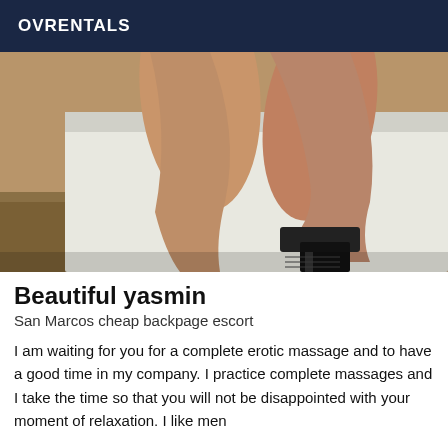OVRENTALS
[Figure (photo): Photo of woman's legs in high heels on white furniture]
Beautiful yasmin
San Marcos cheap backpage escort
I am waiting for you for a complete erotic massage and to have a good time in my company. I practice complete massages and I take the time so that you will not be disappointed with your moment of relaxation. I like men